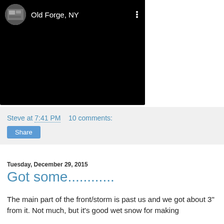[Figure (screenshot): Video player screenshot showing a dark/black video frame with a circular avatar thumbnail and location name 'Old Forge, NY' at the top, and a three-dot menu icon.]
Steve at 7:41 PM   10 comments:
Share
Tuesday, December 29, 2015
Got some............
The main part of the front/storm is past us and we got about 3" from it.  Not much, but it's good wet snow for making